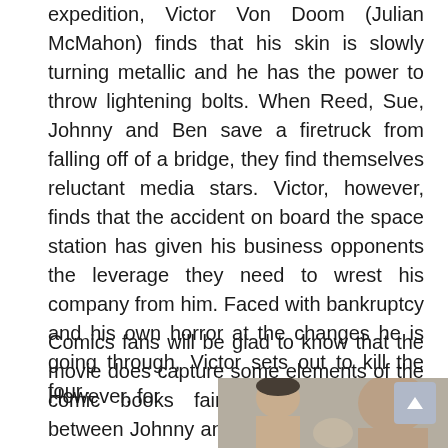expedition, Victor Von Doom (Julian McMahon) finds that his skin is slowly turning metallic and he has the power to throw lightening bolts. When Reed, Sue, Johnny and Ben save a firetruck from falling off of a bridge, they find themselves reluctant media stars. Victor, however, finds that the accident on board the space station has given his business opponents the leverage they need to wrest his company from him. Faced with bankruptcy and his own horror at the changes he is going through, Victor sets out to kill the four.
Comics fans will be glad to know that the movie does capture some elements of the comic books fairly well. The rivalry between Johnny and Ben plays out nicely, especially in a scene involving Johnny's sports car. Evans and Chiklis also handle their solo scenes their characters have with equal aplomb. There are numerous small moments that should have comics fans smiling while still playing well to the uninitiated.
However, for
[Figure (photo): A photo showing at least two people, partially visible at the bottom right of the page. The image is cropped and shows faces/upper bodies of individuals.]